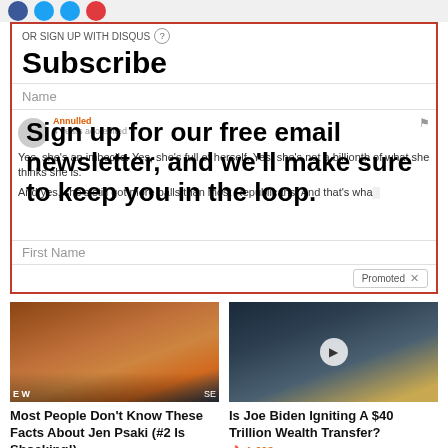[Figure (screenshot): Social media share icons (blue Facebook, blue Twitter, red Pinterest circles) at top]
Subscribe
OR SIGN UP WITH DISQUS
Name
Sign up for our free email newsletter, and we'll make sure to keep you in the loop.
4 years ago edited
Yes, she's an imbecile. Yes, she's full of herself. Yes, she's not a billionth of what she thinks she is.
And yes, she's still got more balls than most Republicans. And that's wha...
First Name
Promoted
[Figure (photo): Photo of Jen Psaki speaking in front of White House]
Most People Don't Know These Facts About Jen Psaki (#2 Is Shocking!)
27,528
[Figure (photo): Photo of Joe Biden at podium with flags, video play button overlay]
Is Joe Biden Igniting A $40 Trillion Wealth Transfer?
1,693